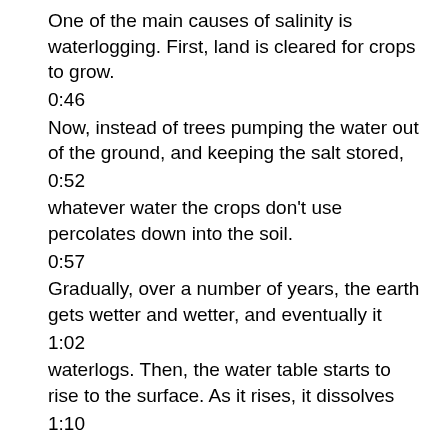One of the main causes of salinity is waterlogging. First, land is cleared for crops to grow.
0:46
Now, instead of trees pumping the water out of the ground, and keeping the salt stored,
0:52
whatever water the crops don't use percolates down into the soil.
0:57
Gradually, over a number of years, the earth gets wetter and wetter, and eventually it
1:02
waterlogs. Then, the water table starts to rise to the surface. As it rises, it dissolves
1:10